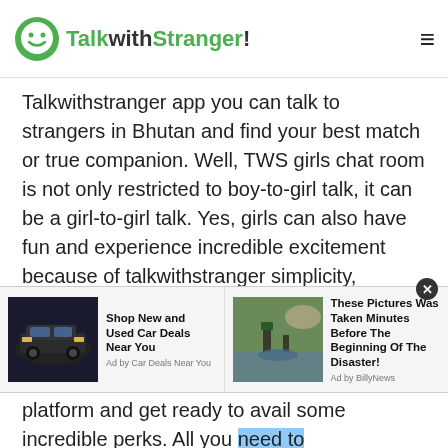TalkwithStranger!
Talkwithstranger app you can talk to strangers in Bhutan and find your best match or true companion. Well, TWS girls chat room is not only restricted to boy-to-girl talk, it can be a girl-to-girl talk. Yes, girls can also have fun and experience incredible excitement because of talkwithstranger simplicity, authenticity and reliability.
So, if you haven't experienced girls chat at TWS then it's time to join this amazing platform and get ready to avail some incredible perks. All you need to grab your smartphone, open the TWS chat site and
[Figure (screenshot): Advertisement banner with two ad units: 'Shop New and Used Car Deals Near You' by Car Deals Near You, and 'These Pictures Was Taken Minutes Before The Beginning Of The Disaster!' by BillyNews]